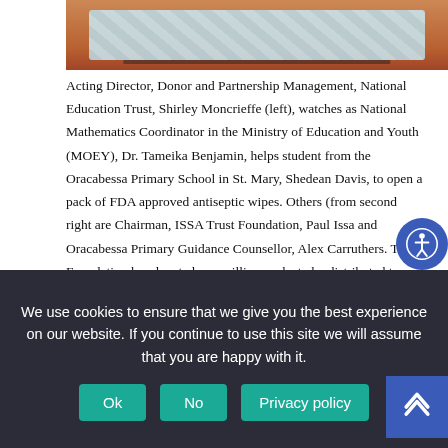[Figure (photo): Photo showing packs of antiseptic wipes on a table with a reddish-brown background]
Acting Director, Donor and Partnership Management, National Education Trust, Shirley Moncrieffe (left), watches as National Mathematics Coordinator in the Ministry of Education and Youth (MOEY), Dr. Tameika Benjamin, helps student from the Oracabessa Primary School in St. Mary, Shedean Davis, to open a pack of FDA approved antiseptic wipes. Others (from second right are Chairman, ISSA Trust Foundation, Paul Issa and Oracabessa Primary Guidance Counsellor, Alex Carruthers. The Foundation has donated one million packs to be distributed to schools across the island as part of the MOEY's efforts to support the ongoing COVID-19 relief efforts. The handover took place at the Ministry, in Kingston, today (April 19).
We use cookies to ensure that we give you the best experience on our website. If you continue to use this site we will assume that you are happy with it.